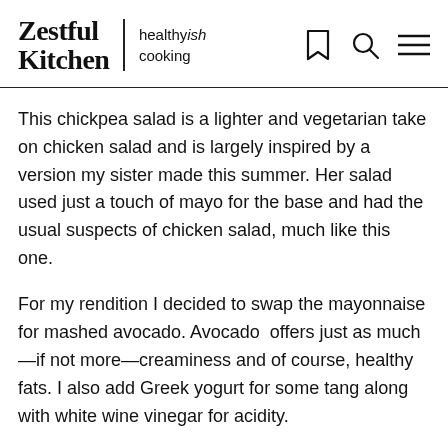Zestful Kitchen | healthyish cooking
This chickpea salad is a lighter and vegetarian take on chicken salad and is largely inspired by a version my sister made this summer. Her salad used just a touch of mayo for the base and had the usual suspects of chicken salad, much like this one.
For my rendition I decided to swap the mayonnaise for mashed avocado. Avocado  offers just as much—if not more—creaminess and of course, healthy fats. I also add Greek yogurt for some tang along with white wine vinegar for acidity.
MY LATEST VIDEOS